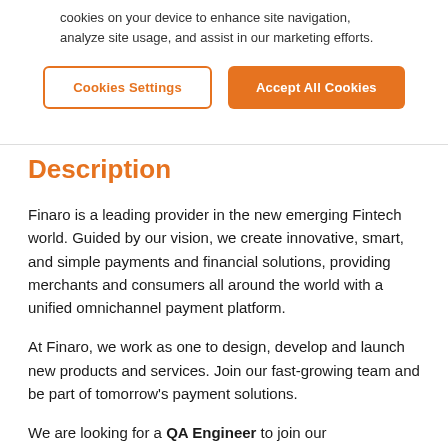cookies on your device to enhance site navigation, analyze site usage, and assist in our marketing efforts.
Cookies Settings | Accept All Cookies
Description
Finaro is a leading provider in the new emerging Fintech world. Guided by our vision, we create innovative, smart, and simple payments and financial solutions, providing merchants and consumers all around the world with a unified omnichannel payment platform.
At Finaro, we work as one to design, develop and launch new products and services. Join our fast-growing team and be part of tomorrow’s payment solutions.
We are looking for a QA Engineer to join our